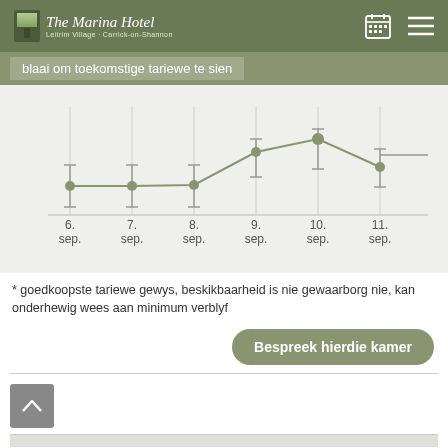The Marina Hotel — Leitrim Village · Carrick-on-Shannon
blaai om toekomstige tariewe te sien
[Figure (line-chart): Hotel rates by date]
* goedkoopste tariewe gewys, beskikbaarheid is nie gewaarborg nie, kan onderhewig wees aan minimum verblyf
Bespreek hierdie kamer